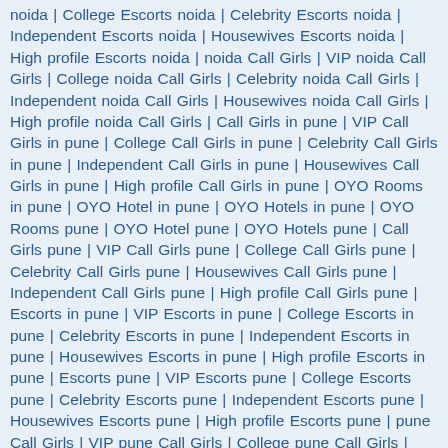noida | College Escorts noida | Celebrity Escorts noida | Independent Escorts noida | Housewives Escorts noida | High profile Escorts noida | noida Call Girls | VIP noida Call Girls | College noida Call Girls | Celebrity noida Call Girls | Independent noida Call Girls | Housewives noida Call Girls | High profile noida Call Girls | Call Girls in pune | VIP Call Girls in pune | College Call Girls in pune | Celebrity Call Girls in pune | Independent Call Girls in pune | Housewives Call Girls in pune | High profile Call Girls in pune | OYO Rooms in pune | OYO Hotel in pune | OYO Hotels in pune | OYO Rooms pune | OYO Hotel pune | OYO Hotels pune | Call Girls pune | VIP Call Girls pune | College Call Girls pune | Celebrity Call Girls pune | Housewives Call Girls pune | Independent Call Girls pune | High profile Call Girls pune | Escorts in pune | VIP Escorts in pune | College Escorts in pune | Celebrity Escorts in pune | Independent Escorts in pune | Housewives Escorts in pune | High profile Escorts in pune | Escorts pune | VIP Escorts pune | College Escorts pune | Celebrity Escorts pune | Independent Escorts pune | Housewives Escorts pune | High profile Escorts pune | pune Call Girls | VIP pune Call Girls | College pune Call Girls | Celebrity pune Call Girls | Independent pune Call Girls | Housewives pune Call Girls | High profile pune Call Girls | Call girls in gurgaon | Call girls gurgaon | gurgaon Call girls | Escorts in Gurgaon | Call girls in